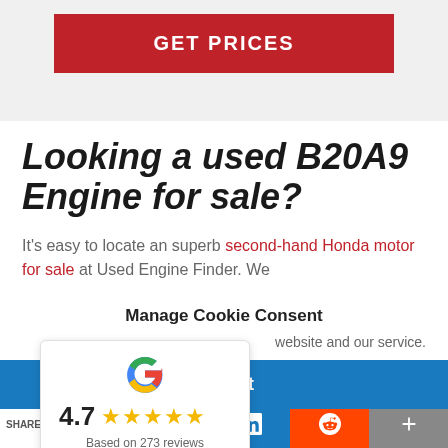GET PRICES
Looking a used B20A9 Engine for sale?
It's easy to locate an superb second-hand Honda motor for sale at Used Engine Finder. We
Manage Cookie Consent
website and our service.
Accept
[Figure (logo): Google logo with 4.7 star rating, Based on 273 reviews]
SHARES